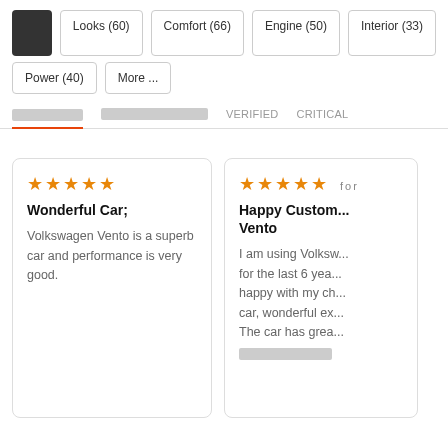Looks (60)
Comfort (66)
Engine (50)
Interior (33)
Power (40)
More ...
VERIFIED  CRITICAL
Wonderful Car; Volkswagen Vento is a superb car and performance is very good.
Happy Custom... Vento  I am using Volksw... for the last 6 yea... happy with my ch... car, wonderful ex... The car has grea...